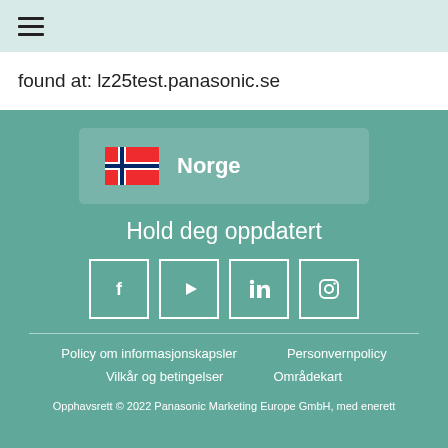found at: lz25test.panasonic.se
[Figure (illustration): Norwegian flag icon followed by 'Norge' text in a teal rounded box]
Hold deg oppdatert
[Figure (infographic): Four social media icons in white outlined squares: Facebook, YouTube, LinkedIn, Instagram]
Policy om informasjonskapsler
Personvernpolicy
Vilkår og betingelser
Områdekart
Opphavsrett © 2022 Panasonic Marketing Europe GmbH, med enerett